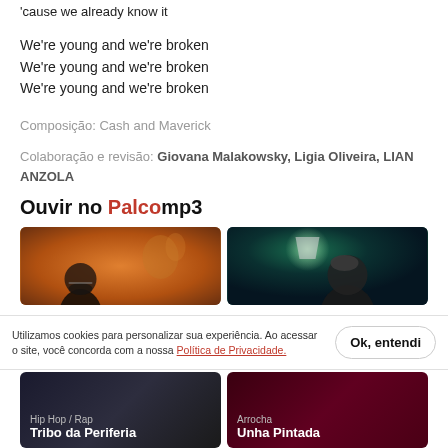'cause we already know it
We're young and we're broken
We're young and we're broken
We're young and we're broken
Composição: Cash and Maverick
Colaboração e revisão: Giovana Malakowsky, Ligia Oliveira, LIAN ANZOLA
Ouvir no PalcoMP3
[Figure (photo): Two artist photos side by side - left shows bald person with sunglasses against warm orange/brown background with tree, right shows person in cap under green lighting]
Utilizamos cookies para personalizar sua experiência. Ao acessar o site, você concorda com a nossa Política de Privacidade.
[Figure (photo): Two music genre cards at bottom - left: Hip Hop / Rap, Tribo da Periferia; right: Arrocha, Unha Pintada]